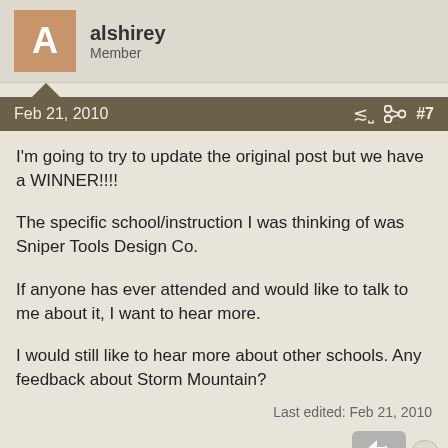alshirey
Member
Feb 21, 2010  #7
I'm going to try to update the original post but we have a WINNER!!!!
The specific school/instruction I was thinking of was Sniper Tools Design Co.
If anyone has ever attended and would like to talk to me about it, I want to hear more.
I would still like to hear more about other schools. Any feedback about Storm Mountain?
Last edited: Feb 21, 2010